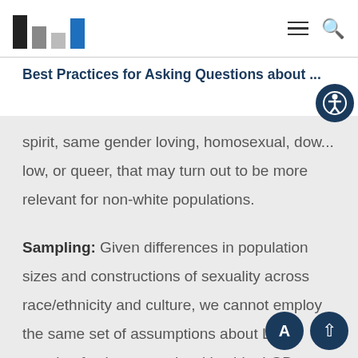[Figure (logo): Urban Institute bar chart logo with dark, grey, and blue vertical bars]
Best Practices for Asking Questions about ...
spirit, same gender loving, homosexual, low, or queer, that may turn out to be more relevant for non-white populations.
Sampling: Given differences in population sizes and constructions of sexuality across race/ethnicity and culture, we cannot employ the same set of assumptions about LGB people of color as we do with white LGB